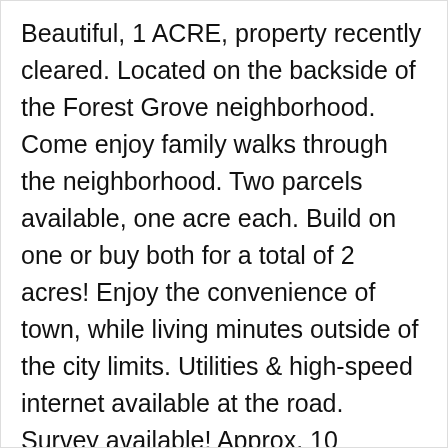Beautiful, 1 ACRE, property recently cleared. Located on the backside of the Forest Grove neighborhood. Come enjoy family walks through the neighborhood. Two parcels available, one acre each. Build on one or buy both for a total of 2 acres! Enjoy the convenience of town, while living minutes outside of the city limits. Utilities & high-speed internet available at the road. Survey available! Approx. 10 minutes to stores, restaurants and Whiting Field.
[Figure (logo): Sun State Realty LLC logo — blue palm tree with yellow sun and blue text reading 'Sun State Realty' in a bordered rectangle]